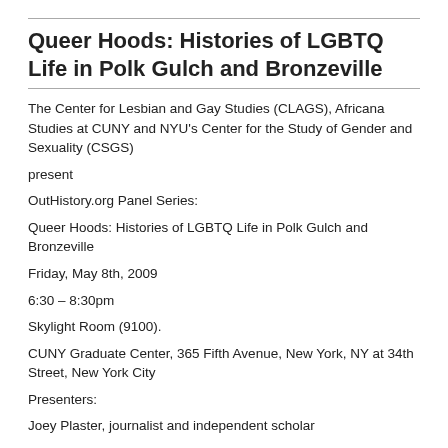Queer Hoods: Histories of LGBTQ Life in Polk Gulch and Bronzeville
The Center for Lesbian and Gay Studies (CLAGS), Africana Studies at CUNY and NYU's Center for the Study of Gender and Sexuality (CSGS)
present
OutHistory.org Panel Series:
Queer Hoods: Histories of LGBTQ Life in Polk Gulch and Bronzeville
Friday, May 8th, 2009
6:30 – 8:30pm
Skylight Room (9100).
CUNY Graduate Center, 365 Fifth Avenue, New York, NY at 34th Street, New York City
Presenters:
Joey Plaster, journalist and independent scholar
Tristan Cabello, PhD candidate, Northwestern University
Recipients of the 2008-2009 OutHistory.org Fellowship, Joey Plaster and Tristan Cabello will present their award-winning online exhibits followed by a panel discussion moderated by pioneering gay historian, Jonathan Ned